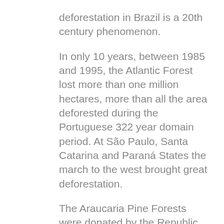deforestation in Brazil is a 20th century phenomenon. In only 10 years, between 1985 and 1995, the Atlantic Forest lost more than one million hectares, more than all the area deforested during the Portuguese 322 year domain period. At São Paulo, Santa Catarina and Paraná States the march to the west brought great deforestation. The Araucaria Pine Forests were donated by the Republic to the British-American railway constructors, along with the surrounding areas (15 to 30 km each railway side). In the Amazon Basin, for over four centuries, the Humankind presence was limited to indigenous settlements, small villages and cities around the river embankments, conditioned by the extracting activity. The